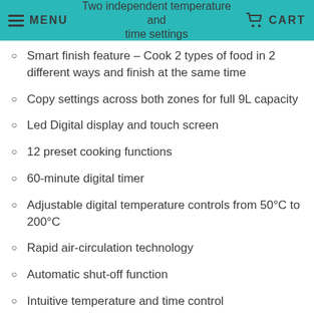MENU  Two independent temperature and time settings  CART
Two independent temperature and time settings
Smart finish feature – Cook 2 types of food in 2 different ways and finish at the same time
Copy settings across both zones for full 9L capacity
Led Digital display and touch screen
12 preset cooking functions
60-minute digital timer
Adjustable digital temperature controls from 50°C to 200°C
Rapid air-circulation technology
Automatic shut-off function
Intuitive temperature and time control
Detachable baskets and non-stick Teflon-coated basket